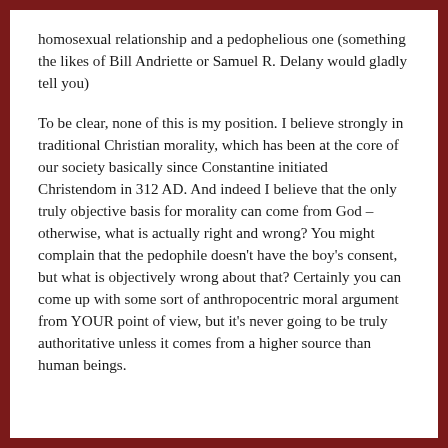homosexual relationship and a pedophelious one (something the likes of Bill Andriette or Samuel R. Delany would gladly tell you)
To be clear, none of this is my position. I believe strongly in traditional Christian morality, which has been at the core of our society basically since Constantine initiated Christendom in 312 AD. And indeed I believe that the only truly objective basis for morality can come from God – otherwise, what is actually right and wrong? You might complain that the pedophile doesn't have the boy's consent, but what is objectively wrong about that? Certainly you can come up with some sort of anthropocentric moral argument from YOUR point of view, but it's never going to be truly authoritative unless it comes from a higher source than human beings.